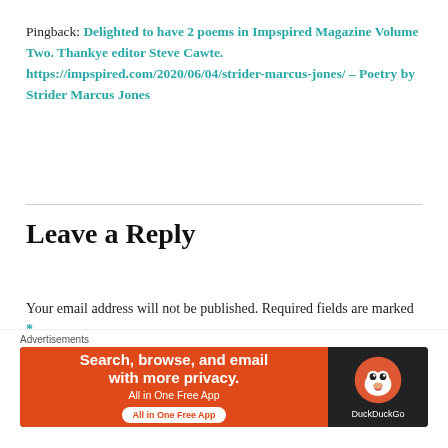Pingback: Delighted to have 2 poems in Impspired Magazine Volume Two. Thankye editor Steve Cawte. https://impspired.com/2020/06/04/strider-marcus-jones/ – Poetry by Strider Marcus Jones
Leave a Reply
Your email address will not be published. Required fields are marked *
Comment *
[Figure (other): DuckDuckGo advertisement banner: orange left panel with text 'Search, browse, and email with more privacy. All in One Free App' and dark right panel with DuckDuckGo duck logo and 'DuckDuckGo' text]